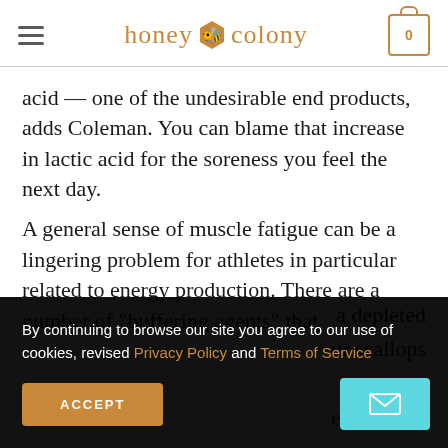honey colony
acid — one of the undesirable end products, adds Coleman. You can blame that increase in lactic acid for the soreness you feel the next day.
A general sense of muscle fatigue can be a lingering problem for athletes in particular related to energy production. There are a number of "buffering agents" that ... a depleted ... ur scallops ... (try ... e is a good
By continuing to browse our site you agree to our use of cookies, revised Privacy Policy and Terms of Service
ACCEPT